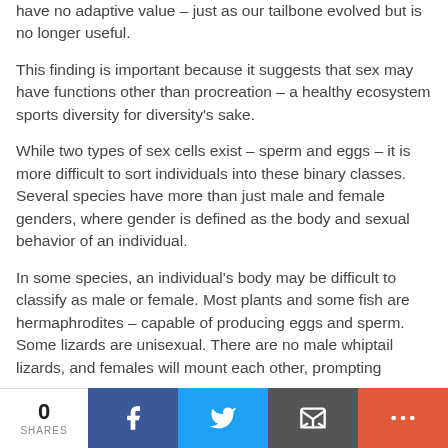have no adaptive value – just as our tailbone evolved but is no longer useful.
This finding is important because it suggests that sex may have functions other than procreation – a healthy ecosystem sports diversity for diversity's sake.
While two types of sex cells exist – sperm and eggs – it is more difficult to sort individuals into these binary classes. Several species have more than just male and female genders, where gender is defined as the body and sexual behavior of an individual.
In some species, an individual's body may be difficult to classify as male or female. Most plants and some fish are hermaphrodites – capable of producing eggs and sperm. Some lizards are unisexual. There are no male whiptail lizards, and females will mount each other, prompting
0 SHARES